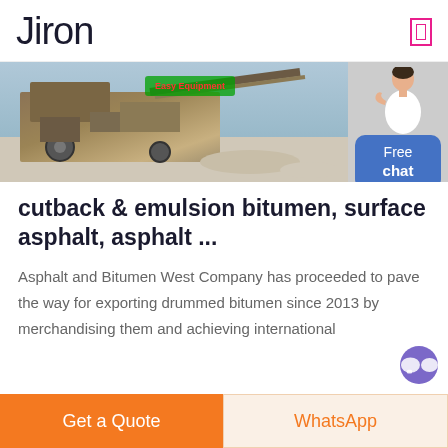Jiron
[Figure (photo): Industrial mining/crushing machine equipment photographed outdoors, with a green logo overlay reading 'Easy Equipment' in red text on green background]
cutback & emulsion bitumen, surface asphalt, asphalt ...
Asphalt and Bitumen West Company has proceeded to pave the way for exporting drummed bitumen since 2013 by merchandising them and achieving international
Get a Quote  WhatsApp